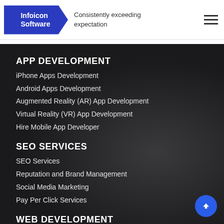Infoicon Software — Consistently exceeding expectation
APP DEVELOPMENT
iPhone Apps Development
Android Apps Development
Augmented Reality (AR) App Development
Virtual Reality (VR) App Development
Hire Mobile App Developer
SEO SERVICES
SEO Services
Reputation and Brand Management
Social Media Marketing
Pay Per Click Services
WEB DEVELOPMENT
Wordpress Development